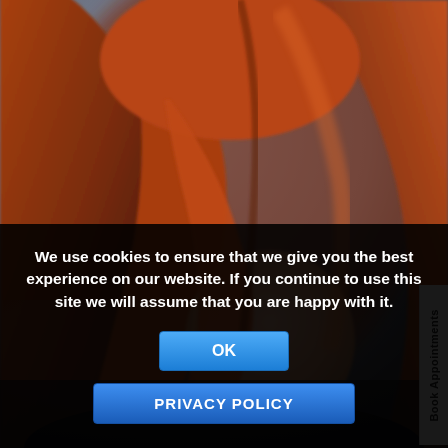[Figure (photo): A woman with long, straight auburn/red hair posed against a grey studio background. Her face is partially obscured by her hair falling over one eye. Professional hair salon photography style.]
Book Appointments
We use cookies to ensure that we give you the best experience on our website. If you continue to use this site we will assume that you are happy with it.
OK
PRIVACY POLICY